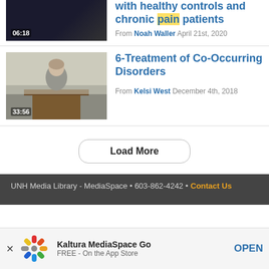[Figure (screenshot): Video thumbnail showing dark background with duration 06:18 overlaid]
with healthy controls and chronic pain patients
From Noah Waller April 21st, 2020
[Figure (photo): Video thumbnail showing a woman speaker at a podium with duration 33:56 overlaid]
6-Treatment of Co-Occurring Disorders
From Kelsi West December 4th, 2018
Load More
UNH Media Library - MediaSpace • 603-862-4242 • Contact Us
Kaltura MediaSpace Go FREE - On the App Store OPEN